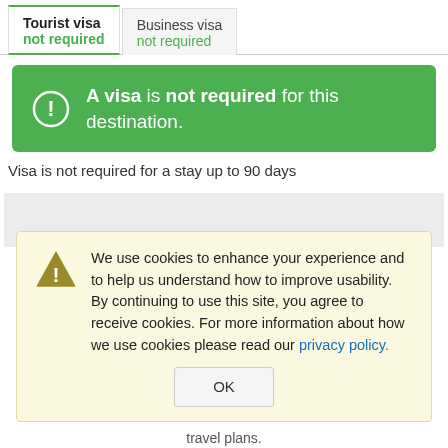Tourist visa not required
Business visa not required
A visa is not required for this destination.
Visa is not required for a stay up to 90 days
We use cookies to enhance your experience and to help us understand how to improve usability. By continuing to use this site, you agree to receive cookies. For more information about how we use cookies please read our privacy policy.
OK
travel plans.